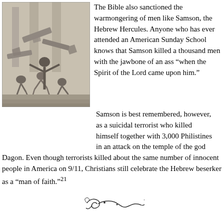[Figure (illustration): Black and white engraving depicting Samson pulling down the pillars of the temple, with figures falling and columns collapsing around him.]
The Bible also sanctioned the warmongering of men like Samson, the Hebrew Hercules. Anyone who has ever attended an American Sunday School knows that Samson killed a thousand men with the jawbone of an ass “when the Spirit of the Lord came upon him.”
Samson is best remembered, however, as a suicidal terrorist who killed himself together with 3,000 Philistines in an attack on the temple of the god Dagon. Even though terrorists killed about the same number of innocent people in America on 9/11, Christians still celebrate the Hebrew beserker as a “man of faith.”²¹
[Figure (illustration): Decorative flourish or ornamental divider illustration.]
Does the Bible’s sanctification of land-grabbing, genocide, holy war and terror mean that humanists should not read the book at all? Not at all. The Bible is also a rich source of sound moral values and insight.